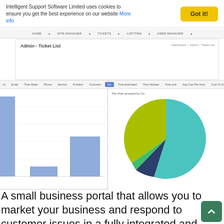Intelligent Support Software Limited uses cookies to ensure you get the best experience on our website More info | Got it!
HOME  SITE MANAGER  TICKETS  LISTITEM  USER MANAGER
Admin - Ticket List
Dashboard  Admin - Ticket List
| Id | Email | Time Made | Phone | Service | Problem | Customer | Go | Time Estimated | Time Worked | Time Left | Avg Cost Per Hour | Cost To Date | Total Cost |
| --- | --- | --- | --- | --- | --- | --- | --- | --- | --- | --- | --- | --- | --- |
[Figure (bar-chart): Bar chart grouped by Go]
[Figure (pie-chart): Pie chart grouped by Go]
A small business portal that allows you to market your business and respond to customer issues in a fully integrated and measured way. The package comes with a customisable content managed front end. Track and manage all customer communication through your new site. This is your busines